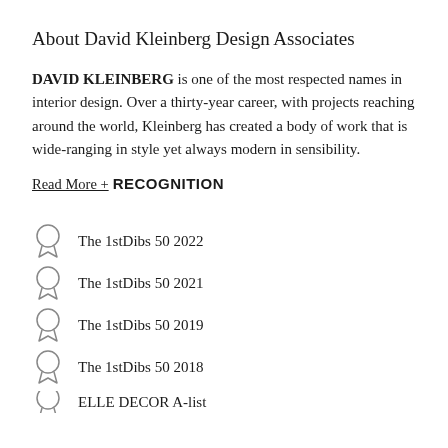About David Kleinberg Design Associates
DAVID KLEINBERG is one of the most respected names in interior design. Over a thirty-year career, with projects reaching around the world, Kleinberg has created a body of work that is wide-ranging in style yet always modern in sensibility.
Read More +
RECOGNITION
The 1stDibs 50 2022
The 1stDibs 50 2021
The 1stDibs 50 2019
The 1stDibs 50 2018
ELLE DECOR A-list